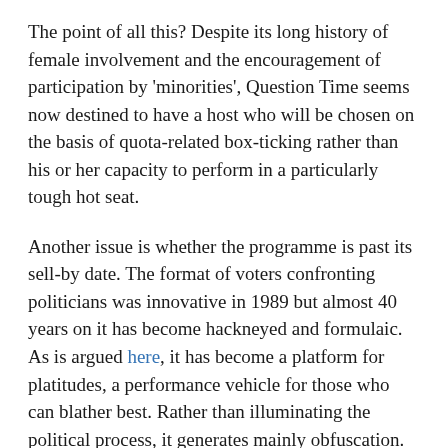The point of all this? Despite its long history of female involvement and the encouragement of participation by ‘minorities’, Question Time seems now destined to have a host who will be chosen on the basis of quota-related box-ticking rather than his or her capacity to perform in a particularly tough hot seat.
Another issue is whether the programme is past its sell-by date. The format of voters confronting politicians was innovative in 1989 but almost 40 years on it has become hackneyed and formulaic. As is argued here, it has become a platform for platitudes, a performance vehicle for those who can blather best. Rather than illuminating the political process, it generates mainly obfuscation.